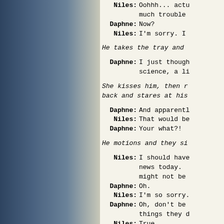Niles: Oohhh... actu
much trouble
Daphne: Now?
Niles: I'm sorry. I
He takes the tray and
Daphne: I just though
science, a li
She kisses him, then r
back and stares at his
Daphne: And apparentl
Niles: That would be
Daphne: Your what?!
He motions and they si
Niles: I should have
news today.
might not be
Daphne: Oh.
Niles: I'm so sorry.
Daphne: Oh, don't be
things they d
Niles: True.
Daphne: And until we
Mother Nature